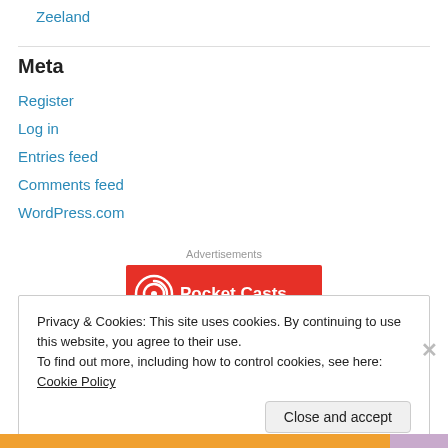Zeeland
Meta
Register
Log in
Entries feed
Comments feed
WordPress.com
Advertisements
[Figure (logo): Pocket Casts advertisement banner with red background and white Pocket Casts logo and text]
Privacy & Cookies: This site uses cookies. By continuing to use this website, you agree to their use.
To find out more, including how to control cookies, see here: Cookie Policy
Close and accept